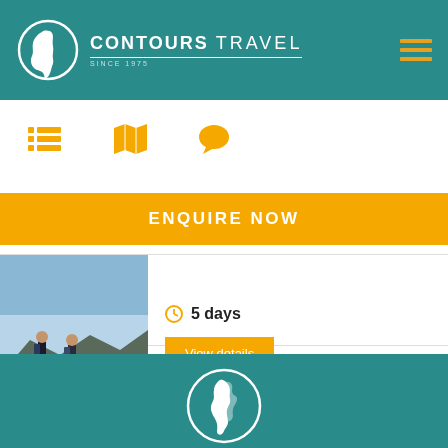[Figure (logo): Contours Travel logo with globe showing South America, company name and 'SINCE 1975' text]
[Figure (illustration): Three orange icons: list/bullet icon, map icon, speech bubble/chat icon]
ENQUIRE NOW
[Figure (photo): Two hikers with trekking poles standing on rocky terrain with glacial landscape in background]
5 days
View details
[Figure (logo): Contours Travel globe logo (white circle outline with South America silhouette) on teal footer background]